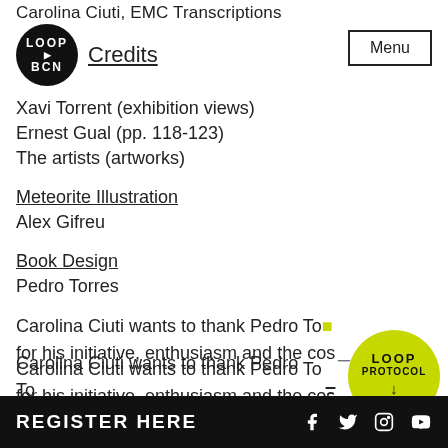Carolina Ciuti, EMC Transcriptions
[Figure (logo): LOOP BCN circular logo in black]
Credits
Menu
Xavi Torrent (exhibition views)
Ernest Gual (pp. 118-123)
The artists (artworks)
Meteorite Illustration
Alex Gifreu
Book Design
Pedro Torres
Carolina Ciuti wants to thank Pedro Torres for his initiative, enthusiasm and the cosmic
[Figure (logo): LOOP PROTOCOL circular badge in lime green]
REGISTER HERE  f  twitter  instagram  youtube